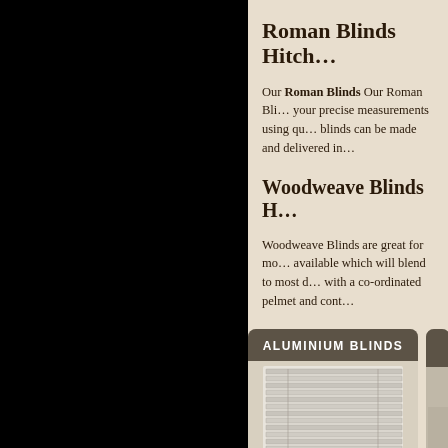Roman Blinds Hitch…
Our Roman Blinds Our Roman Bli… your precise measurements using qu… blinds can be made and delivered in…
Woodweave Blinds H…
Woodweave Blinds are great for mo… available which will blend to most d… with a co-ordinated pelmet and cont…
[Figure (photo): Product card showing aluminium venetian blinds in a kitchen setting, with dark header label reading ALUMINIUM BLINDS]